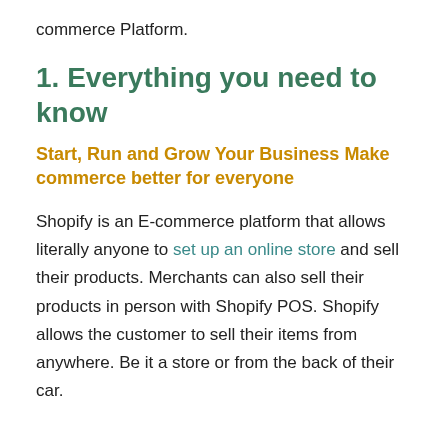commerce Platform.
1. Everything you need to know
Start, Run and Grow Your Business Make commerce better for everyone
Shopify is an E-commerce platform that allows literally anyone to set up an online store and sell their products. Merchants can also sell their products in person with Shopify POS. Shopify allows the customer to sell their items from anywhere. Be it a store or from the back of their car.